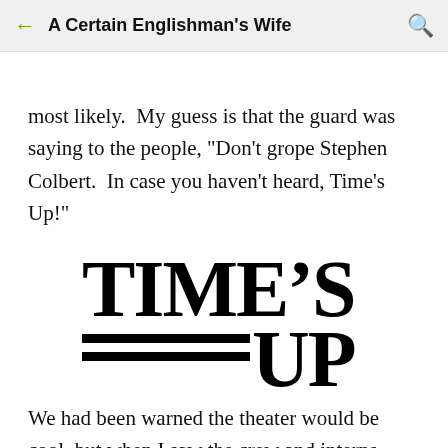A Certain Englishman's Wife
most likely.  My guess is that the guard was saying to the people, "Don't grope Stephen Colbert.  In case you haven't heard, Time's Up!"
[Figure (logo): TIME'S UP logo in large bold black serif text with two horizontal lines to the left of 'UP']
We had been warned the theater would be cool, but when I saw the crew and interns dressed in